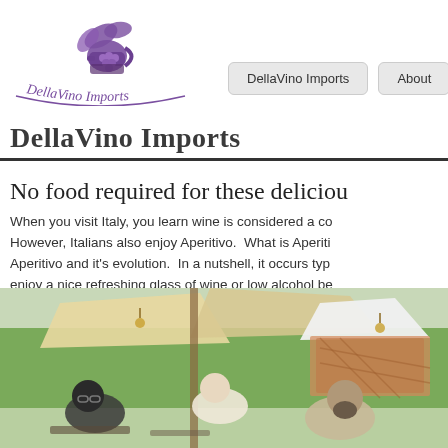[Figure (logo): DellaVino Imports logo with decorative basket/jug and grape leaves illustration in purple, with curved text 'DellaVino Imports' beneath]
DellaVino Imports   About
DellaVino Imports
No food required for these deliciou
When you visit Italy, you learn wine is considered a co However, Italians also enjoy Aperitivo.  What is Aperiti Aperitivo and it's evolution.  In a nutshell, it occurs typ enjoy a nice refreshing glass of wine or low alcohol be
[Figure (photo): Outdoor Italian aperitivo scene with people seated at tables under shade sails, surrounded by trees and greenery, with a gazebo structure in background. A man with beard is visible in foreground right.]